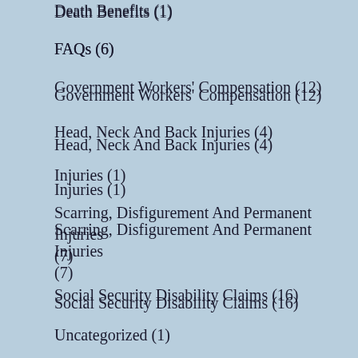Death Benefits (1)
FAQs (6)
Government Workers' Compensation (12)
Head, Neck And Back Injuries (4)
Injuries (1)
Scarring, Disfigurement And Permanent Injuries (7)
Social Security Disability Claims (16)
Uncategorized (1)
Unsafe Conditions (4)
Workers' Compensation (203)
Workplace Accidents (49)
Workplace Injuries (78)